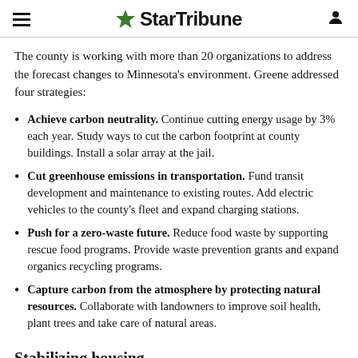StarTribune
The county is working with more than 20 organizations to address the forecast changes to Minnesota's environment. Greene addressed four strategies:
Achieve carbon neutrality. Continue cutting energy usage by 3% each year. Study ways to cut the carbon footprint at county buildings. Install a solar array at the jail.
Cut greenhouse emissions in transportation. Fund transit development and maintenance to existing routes. Add electric vehicles to the county's fleet and expand charging stations.
Push for a zero-waste future. Reduce food waste by supporting rescue food programs. Provide waste prevention grants and expand organics recycling programs.
Capture carbon from the atmosphere by protecting natural resources. Collaborate with landowners to improve soil health, plant trees and take care of natural areas.
Stabilizing housing